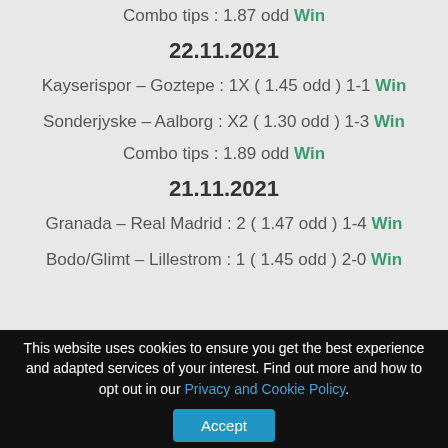Combo tips : 1.87 odd Win
22.11.2021
Kayserispor – Goztepe : 1X ( 1.45 odd ) 1-1 Win
Sonderjyske – Aalborg : X2 ( 1.30 odd ) 1-3 Win
Combo tips : 1.89 odd Win
21.11.2021
Granada – Real Madrid : 2 ( 1.47 odd ) 1-4 Win
Bodo/Glimt – Lillestrom : 1 ( 1.45 odd ) 2-0 Win
This website uses cookies to ensure you get the best experience and adapted services of your interest. Find out more and how to opt out in our Privacy and Cookie Policy.